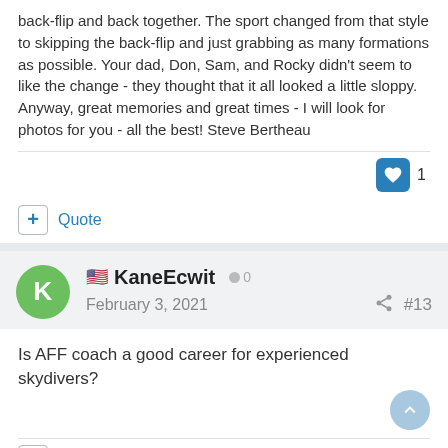back-flip and back together. The sport changed from that style to skipping the back-flip and just grabbing as many formations as possible. Your dad, Don, Sam, and Rocky didn't seem to like the change - they thought that it all looked a little sloppy. Anyway, great memories and great times - I will look for photos for you - all the best! Steve Bertheau
Quote
KaneEcwit  0
February 3, 2021  #13
Is AFF coach a good career for experienced skydivers?
Quote